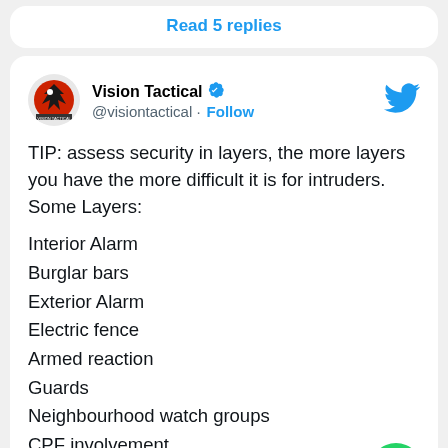Read 5 replies
Vision Tactical @visiontactical · Follow
TIP: assess security in layers, the more layers you have the more difficult it is for intruders. Some Layers:
Interior Alarm
Burglar bars
Exterior Alarm
Electric fence
Armed reaction
Guards
Neighbourhood watch groups
CPF involvement
@vasoentheba on @dstv @enca